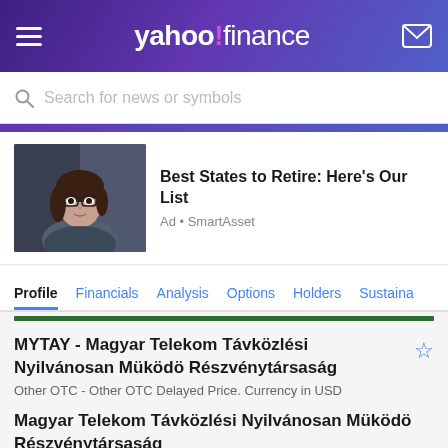yahoo!finance
Search for news or symbols
[Figure (photo): Woman with glasses wearing a dark outfit, portrait photo used in SmartAsset advertisement]
Best States to Retire: Here's Our List
Ad • SmartAsset
Profile  Financials  Analysis  Options  Holders  Sustaina
MYTAY - Magyar Telekom Távközlési Nyilvánosan Müködö Részvénytársaság
Other OTC - Other OTC Delayed Price. Currency in USD
Magyar Telekom Távközlési Nyilvánosan Müködö Részvénytársaság
KOenyves KAlmAn kOerUt 36